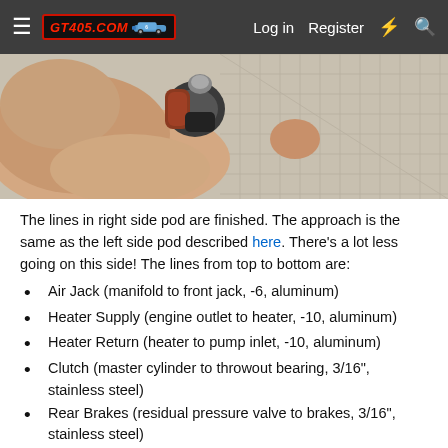GT405.COM  Log in  Register
[Figure (photo): A hand holding a fitting or connector component, with a cutting mat grid visible in the background.]
The lines in right side pod are finished. The approach is the same as the left side pod described here. There’s a lot less going on this side! The lines from top to bottom are:
Air Jack (manifold to front jack, -6, aluminum)
Heater Supply (engine outlet to heater, -10, aluminum)
Heater Return (heater to pump inlet, -10, aluminum)
Clutch (master cylinder to throwout bearing, 3/16", stainless steel)
Rear Brakes (residual pressure valve to brakes, 3/16", stainless steel)
Cooling Return (radiator to pump inlet, 1-1/2", stainless steel)